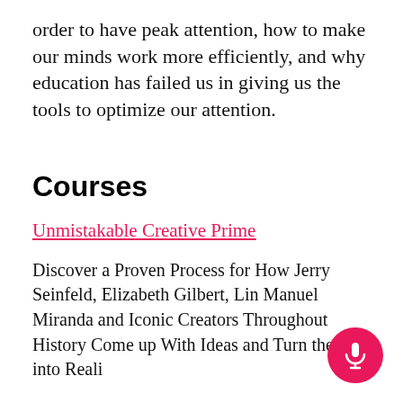order to have peak attention, how to make our minds work more efficiently, and why education has failed us in giving us the tools to optimize our attention.
Courses
Unmistakable Creative Prime
Discover a Proven Process for How Jerry Seinfeld, Elizabeth Gilbert, Lin Manuel Miranda and Iconic Creators Throughout History Come up With Ideas and Turn them into Reality
Attention Mastery